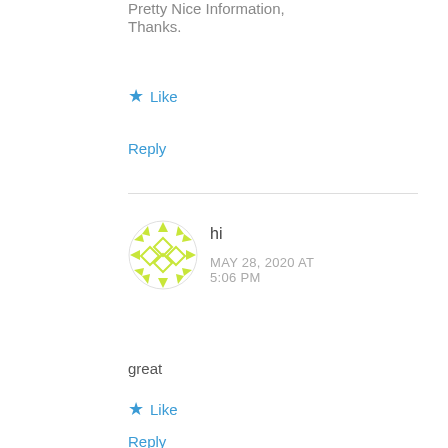Pretty Nice Information,
Thanks.
★ Like
Reply
[Figure (illustration): Circular avatar with yellow-green geometric diamond pattern on white background]
hi
MAY 28, 2020 AT 5:06 PM
great
★ Like
Reply